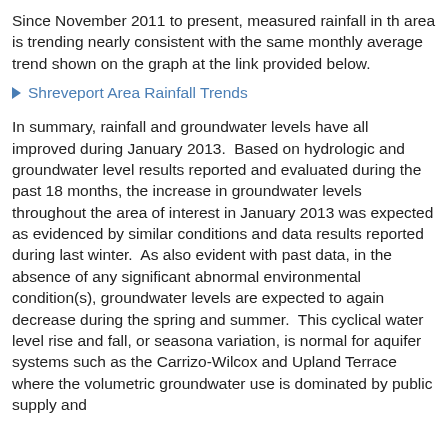Since November 2011 to present, measured rainfall in the area is trending nearly consistent with the same monthly average trend shown on the graph at the link provided below.
Shreveport Area Rainfall Trends
In summary, rainfall and groundwater levels have all improved during January 2013.  Based on hydrologic and groundwater level results reported and evaluated during the past 18 months, the increase in groundwater levels throughout the area of interest in January 2013 was expected as evidenced by similar conditions and data results reported during last winter.  As also evident with past data, in the absence of any significant abnormal environmental condition(s), groundwater levels are expected to again decrease during the spring and summer.  This cyclical water level rise and fall, or seasonal variation, is normal for aquifer systems such as the Carrizo-Wilcox and Upland Terrace where the volumetric groundwater use is dominated by public supply and